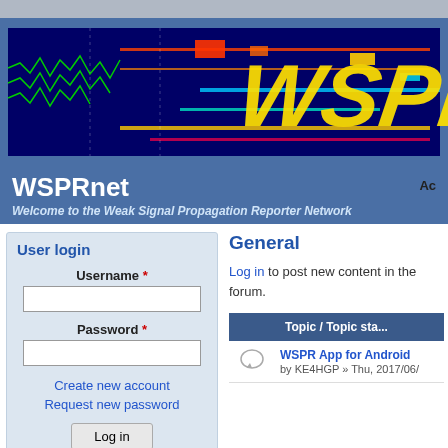[Figure (screenshot): WSPRnet website header with spectrogram waterfall image showing radio frequency signals, with large yellow 'WSPR' text overlaid on a dark blue/colorful spectrogram background]
WSPRnet
Welcome to the Weak Signal Propagation Reporter Network
User login
Username *
Password *
Create new account
Request new password
Log in
General
Log in to post new content in the forum.
| Topic / Topic sta... |
| --- |
| WSPR App for Android
by KE4HGP » Thu, 2017/06/... |